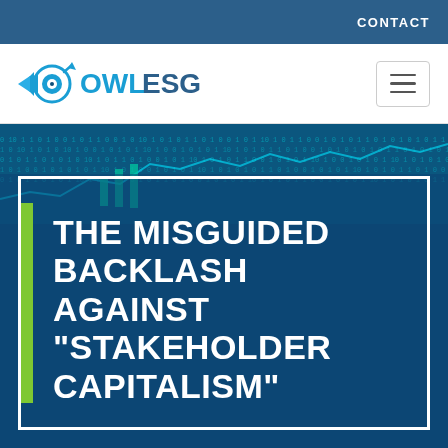CONTACT
[Figure (logo): OWL ESG logo with circular eye icon and arrow, blue color scheme]
[Figure (screenshot): Digital financial data visualization background with binary code and stock chart graphics in blue/teal tones]
THE MISGUIDED BACKLASH AGAINST “STAKEHOLDER CAPITALISM”